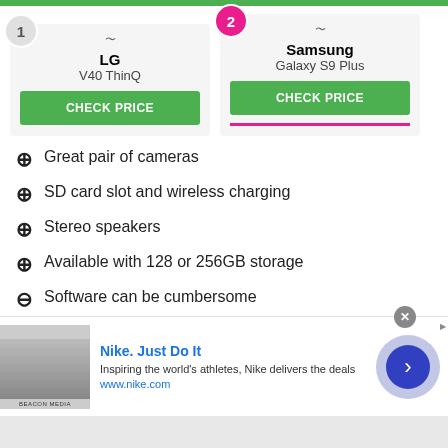[Figure (other): Product comparison cards for LG V40 ThinQ (#1) and Samsung Galaxy S9 Plus (#2) with CHECK PRICE buttons]
Great pair of cameras
SD card slot and wireless charging
Stereo speakers
Available with 128 or 256GB storage
Software can be cumbersome
Slower wired charging
Labor Day sales highlights - Phones, laptops,
[Figure (other): Nike advertisement banner: Nike. Just Do It - Inspiring the world's athletes, Nike delivers the deals - www.nike.com]